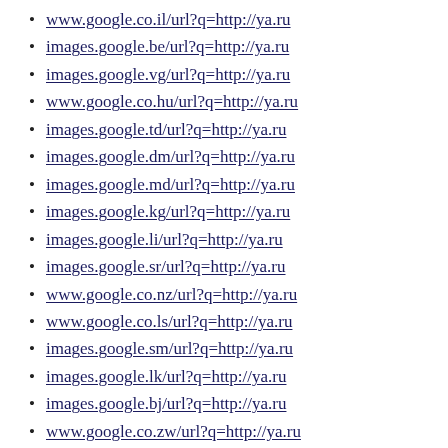www.google.co.il/url?q=http://ya.ru
images.google.be/url?q=http://ya.ru
images.google.vg/url?q=http://ya.ru
www.google.co.hu/url?q=http://ya.ru
images.google.td/url?q=http://ya.ru
images.google.dm/url?q=http://ya.ru
images.google.md/url?q=http://ya.ru
images.google.kg/url?q=http://ya.ru
images.google.li/url?q=http://ya.ru
images.google.sr/url?q=http://ya.ru
www.google.co.nz/url?q=http://ya.ru
www.google.co.ls/url?q=http://ya.ru
images.google.sm/url?q=http://ya.ru
images.google.lk/url?q=http://ya.ru
images.google.bj/url?q=http://ya.ru
www.google.co.zw/url?q=http://ya.ru
images.google.gg/url?q=http://ya.ru
images.google.to/url?q=http://ya.ru
images.google.ge/url?q=http://ya.ru